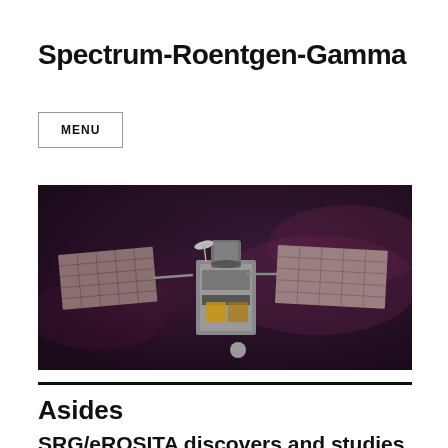Spectrum-Roentgen-Gamma
MENU
[Figure (photo): Artist rendering of the Spectrum-Roentgen-Gamma (SRG) spacecraft against a dark purple nebula background, showing large solar panels and instruments.]
Asides
SRG/eROSITA discovers and studies